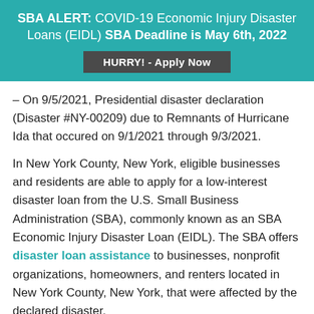SBA ALERT: COVID-19 Economic Injury Disaster Loans (EIDL) SBA Deadline is May 6th, 2022
HURRY! - Apply Now
– On 9/5/2021, Presidential disaster declaration (Disaster #NY-00209) due to Remnants of Hurricane Ida that occured on 9/1/2021 through 9/3/2021.
In New York County, New York, eligible businesses and residents are able to apply for a low-interest disaster loan from the U.S. Small Business Administration (SBA), commonly known as an SBA Economic Injury Disaster Loan (EIDL). The SBA offers disaster loan assistance to businesses, nonprofit organizations, homeowners, and renters located in New York County, New York, that were affected by the declared disaster.